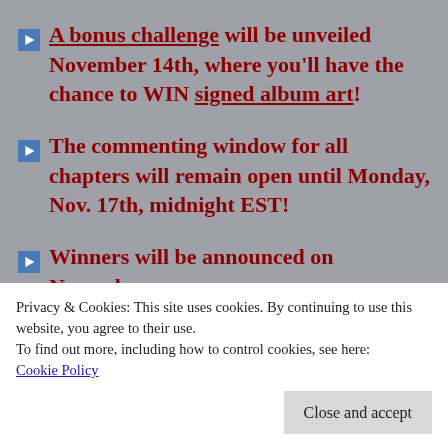▶ A bonus challenge will be unveiled November 14th, where you'll have the chance to WIN signed album art!
▶ The commenting window for all chapters will remain open until Monday, Nov. 17th, midnight EST!
▶ Winners will be announced on November
Privacy & Cookies: This site uses cookies. By continuing to use this website, you agree to their use.
To find out more, including how to control cookies, see here:
Cookie Policy
Close and accept